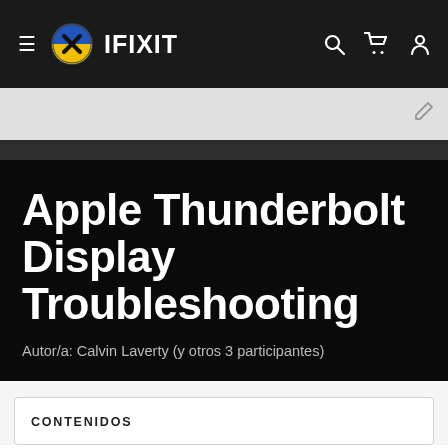IFIXIT
Apple Thunderbolt Display Troubleshooting
Autor/a: Calvin Laverty (y otros 3 participantes)
CONTENIDOS